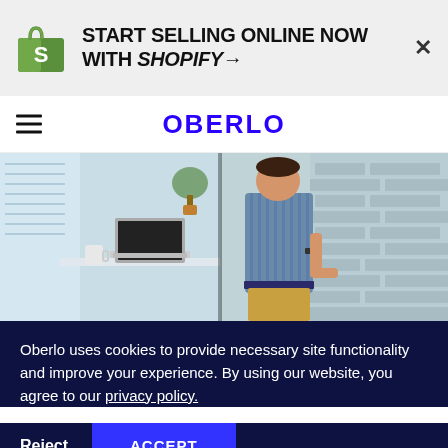[Figure (logo): Shopify promotional banner with Shopify bag logo and text START SELLING ONLINE NOW WITH SHOPIFY→ and a close X button]
OBERLO
[Figure (photo): Split composite photo: left side shows a laptop and coffee mug on a white desk near a window; right side shows a person in a striped shirt and khaki pants standing near a brick wall]
Oberlo uses cookies to provide necessary site functionality and improve your experience. By using our website, you agree to our privacy policy.
Reject  ACCEPT